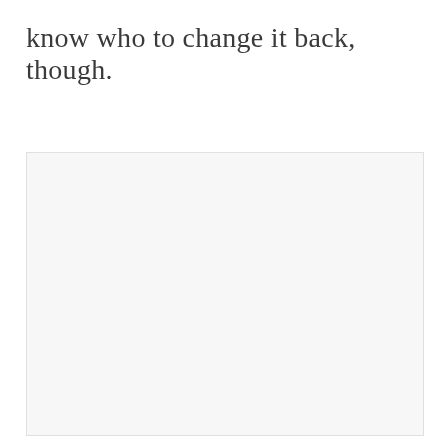know who to change it back, though.
[Figure (other): Large empty light gray rectangular box, possibly a placeholder image or content area.]